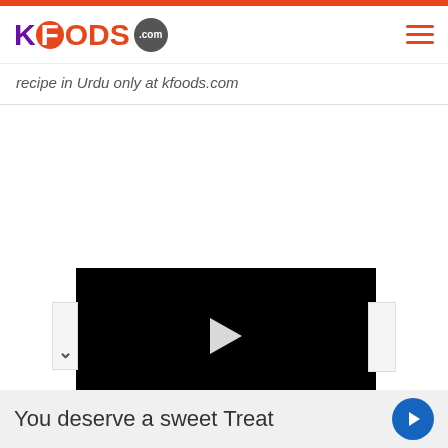KFOODS.com
recipe in Urdu only at kfoods.com
[Figure (screenshot): Black video player with white play button triangle in center]
You deserve a sweet Treat